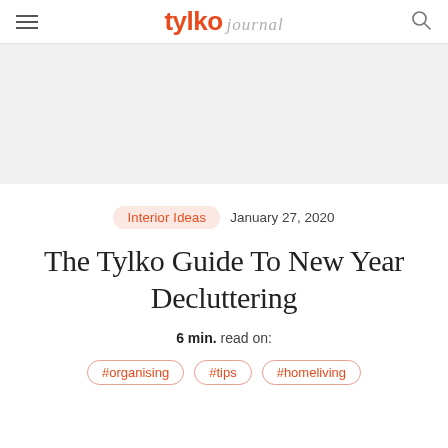tylko journal
[Figure (photo): Light grey hero image placeholder area]
Interior Ideas   January 27, 2020
The Tylko Guide To New Year Decluttering
6 min. read on:
#organising   #tips   #homeliving